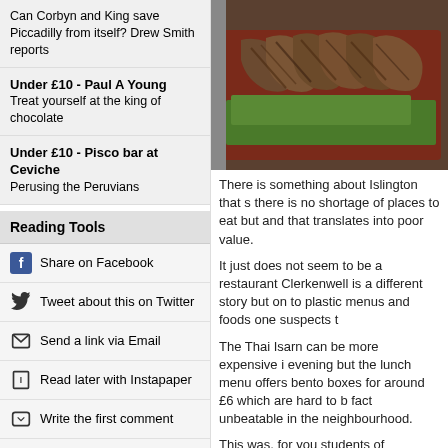Can Corbyn and King save Piccadilly from itself? Drew Smith reports
Under £10 - Paul A Young
Treat yourself at the king of chocolate
Under £10 - Pisco bar at Ceviche
Perusing the Peruvians
Reading Tools
Share on Facebook
Tweet about this on Twitter
Send a link via Email
Read later with Instapaper
Write the first comment
Read more from Drew
[Figure (photo): Sliced grilled meat served on a red tray with green garnish]
There is something about Islington that s there is no shortage of places to eat but and that translates into poor value.
It just does not seem to be a restaurant Clerkenwell is a different story but on to plastic menus and foods one suspects t
The Thai Isarn can be more expensive i evening but the lunch menu offers bento boxes for around £6 which are hard to b fact unbeatable in the neighbourhood.
This was, for you students of restaurant history, formerly Granita scene of the inf meet between Gordon Brown and Tony where they divi-ed up the leadership of Labour. Perhaps they could have just ag to let the Thais take over the country.